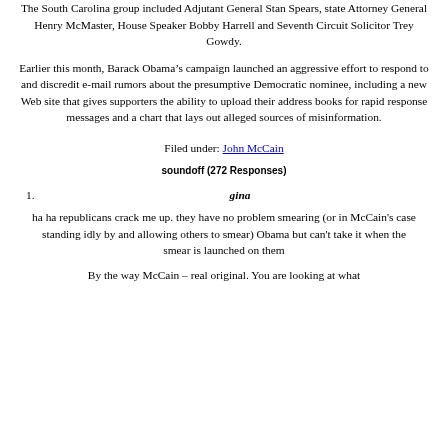The South Carolina group included Adjutant General Stan Spears, state Attorney General Henry McMaster, House Speaker Bobby Harrell and Seventh Circuit Solicitor Trey Gowdy.
Earlier this month, Barack Obama’s campaign launched an aggressive effort to respond to and discredit e-mail rumors about the presumptive Democratic nominee, including a new Web site that gives supporters the ability to upload their address books for rapid response messages and a chart that lays out alleged sources of misinformation.
Filed under: John McCain
soundoff (272 Responses)
1. gina
ha ha republicans crack me up. they have no problem smearing (or in McCain's case standing idly by and allowing others to smear) Obama but can't take it when the smear is launched on them
By the way McCain – real original. You are looking at what